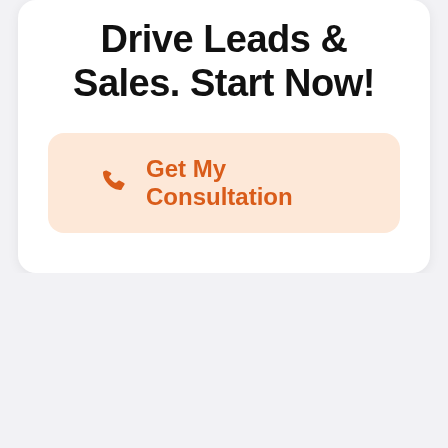Drive Leads & Sales. Start Now!
[Figure (other): Call-to-action button with phone icon and text 'Get My Consultation' on a light peach/salmon background with rounded corners]